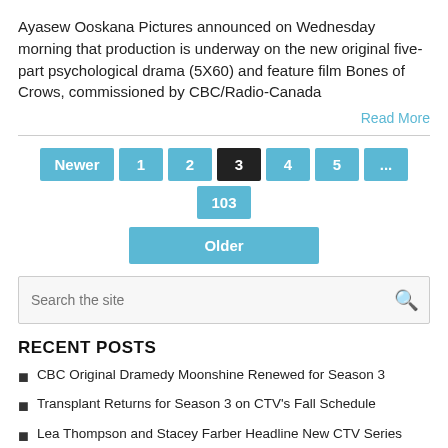Ayasew Ooskana Pictures announced on Wednesday morning that production is underway on the new original five-part psychological drama (5X60) and feature film Bones of Crows, commissioned by CBC/Radio-Canada
Read More
Newer 1 2 3 4 5 ... 103 Older
Search the site
RECENT POSTS
CBC Original Dramedy Moonshine Renewed for Season 3
Transplant Returns for Season 3 on CTV's Fall Schedule
Lea Thompson and Stacey Farber Headline New CTV Series